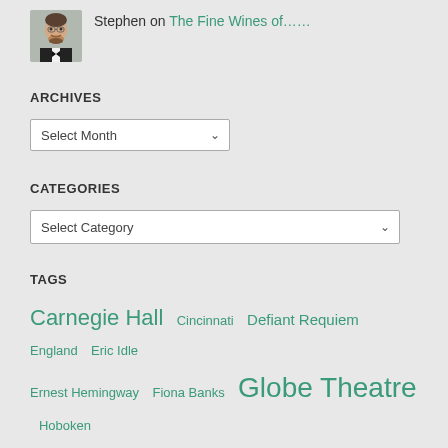[Figure (photo): Headshot of a man in a tuxedo with a bow tie, smiling]
Stephen on The Fine Wines of……
ARCHIVES
Select Month
CATEGORIES
Select Category
TAGS
Carnegie Hall  Cincinnati  Defiant Requiem  England  Eric Idle  Ernest Hemingway  Fiona Banks  Globe Theatre  Hoboken